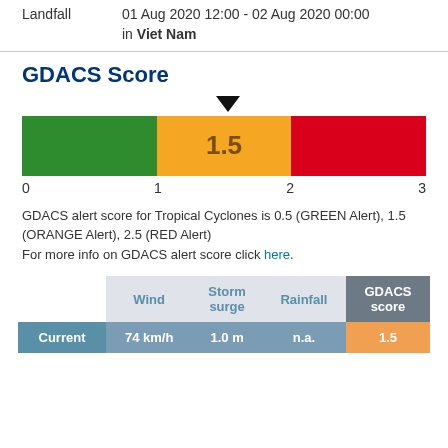Landfall
01 Aug 2020 12:00 - 02 Aug 2020 00:00
in Viet Nam
GDACS Score
[Figure (infographic): GDACS score bar chart showing green, orange, and red sections with a score of 1.5 indicated in the orange section, and a downward arrow pointing to 1.5. Axis labels 0, 1, 2, 3.]
GDACS alert score for Tropical Cyclones is 0.5 (GREEN Alert), 1.5 (ORANGE Alert), 2.5 (RED Alert)
For more info on GDACS alert score click here.
|  | Wind | Storm surge | Rainfall | GDACS score |
| --- | --- | --- | --- | --- |
| Current | 74 km/h | 1.0 m | n.a. | 1.5 |